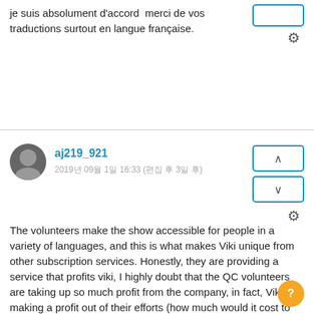je suis absolument d'accord  merci de vos traductions surtout en langue française.
aj219_921
2019年 09月 1日 16:33 (편집 후 3일 후)
The volunteers make the show accessible for people in a variety of languages, and this is what makes Viki unique from other subscription services. Honestly, they are providing a service that profits viki, I highly doubt that the QC volunteers are taking up so much profit from the company, in fact, Viki is making a profit out of their efforts (how much would it cost to pay professional translators?). I'm appreciative of all the efforts the volunteers make in subbing and segmenting! It's a lot of work and they always